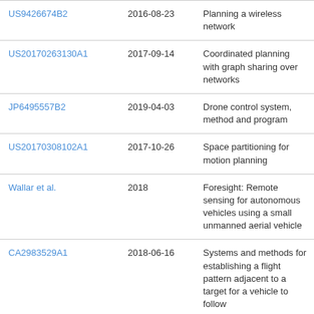| US9426674B2 | 2016-08-23 | Planning a wireless network |
| US20170263130A1 | 2017-09-14 | Coordinated planning with graph sharing over networks |
| JP6495557B2 | 2019-04-03 | Drone control system, method and program |
| US20170308102A1 | 2017-10-26 | Space partitioning for motion planning |
| Wallar et al. | 2018 | Foresight: Remote sensing for autonomous vehicles using a small unmanned aerial vehicle |
| CA2983529A1 | 2018-06-16 | Systems and methods for establishing a flight pattern adjacent to a target for a vehicle to follow |
| CN110673627A | 2020-01-10 | Forest unmanned aerial vehicle searching |